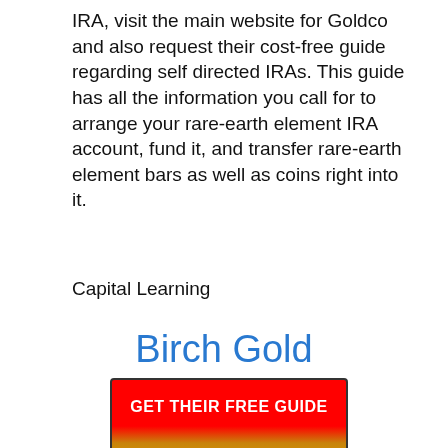IRA, visit the main website for Goldco and also request their cost-free guide regarding self directed IRAs. This guide has all the information you call for to arrange your rare-earth element IRA account, fund it, and transfer rare-earth element bars as well as coins right into it.
Capital Learning
Birch Gold
[Figure (other): Red to gold gradient call-to-action button with text GET THEIR FREE GUIDE in white bold letters]
Advantages:.